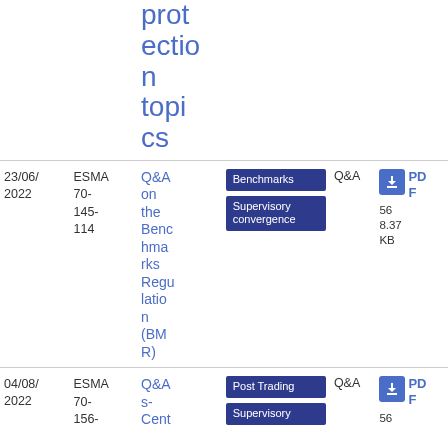protection topics
| Date | Reference | Title | Topics | Type | Download |
| --- | --- | --- | --- | --- | --- |
| 23/06/2022 | ESMA 70-145-114 | Q&A on the Benchmarks Regulation (BMR) | Benchmarks, Supervisory convergence | Q&A | PDF 568.37 KB |
| 04/08/2022 | ESMA 70-156- | Q&As-Cent | Post Trading, Supervisory | Q&A | PDF 56 |